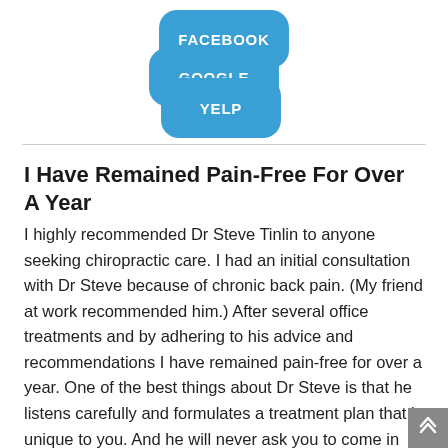[Figure (illustration): Three overlapping rounded square badges in blue showing the text FACEBOOK, GOOGLE, and YELP stacked vertically]
I Have Remained Pain-Free For Over A Year
I highly recommended Dr Steve Tinlin to anyone seeking chiropractic care. I had an initial consultation with Dr Steve because of chronic back pain. (My friend at work recommended him.) After several office treatments and by adhering to his advice and recommendations I have remained pain-free for over a year. One of the best things about Dr Steve is that he listens carefully and formulates a treatment plan that is unique to you. And he will never ask you to come in more often than you and he feel is needed. He is honest and extremely knowledgeable. You can't go...